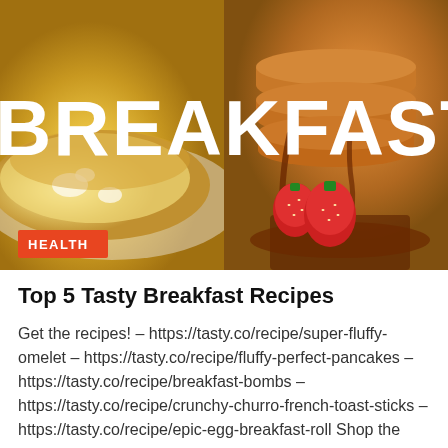[Figure (photo): Split image showing breakfast foods: left half shows a fluffy golden omelet on a white plate, right half shows a stack of pancakes with syrup and strawberries. Large white bold text reads 'BREAKFAST' overlaid on the image. An orange-red 'HEALTH' badge appears in the bottom-left of the image.]
Top 5 Tasty Breakfast Recipes
Get the recipes! – https://tasty.co/recipe/super-fluffy-omelet – https://tasty.co/recipe/fluffy-perfect-pancakes – https://tasty.co/recipe/breakfast-bombs – https://tasty.co/recipe/crunchy-churro-french-toast-sticks – https://tasty.co/recipe/epic-egg-breakfast-roll Shop the ...